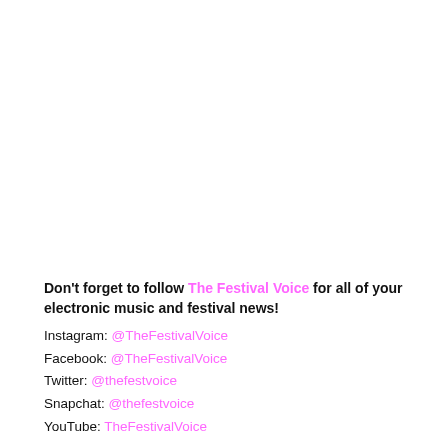Don't forget to follow The Festival Voice for all of your electronic music and festival news! Instagram: @TheFestivalVoice Facebook: @TheFestivalVoice Twitter: @thefestvoice Snapchat: @thefestvoice YouTube: TheFestivalVoice